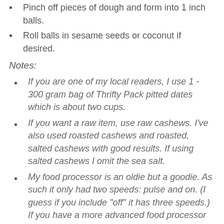Pinch off pieces of dough and form into 1 inch balls.
Roll balls in sesame seeds or coconut if desired.
Notes:
If you are one of my local readers, I use 1 - 300 gram bag of Thrifty Pack pitted dates which is about two cups.
If you want a raw item, use raw cashews. I've also used roasted cashews and roasted, salted cashews with good results. If using salted cashews I omit the sea salt.
My food processor is an oldie but a goodie. As such it only had two speeds: pulse and on. (I guess if you include "off" it has three speeds.) If you have a more advanced food processor you may be able to toss everything in and whiz away.
In my food processor the dates go from date-sized to raisin-sized to one huge ball of sticky date pulp. When it gets to that stage it's ready